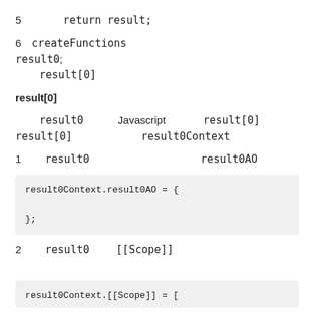5　　　　return result;
6　createFunctions 　　　　　　　　　　　　　　　　　　result0; 　　 result[0]
result[0]
result0 　　　Javascript 　　　 result[0] 　　　　　　　　result[0] 　　　　　　 result0Context
1　　 result0 　　　　　　　　　　 result0AO
result0Context.result0AO = {

};
2　　 result0 　　 [[Scope]]
result0Context.[[Scope]] = [